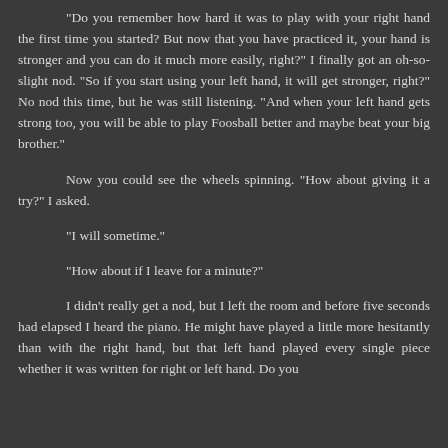"Do you remember how hard it was to play with your right hand the first time you started?  But now that you have practiced it, your hand is stronger and you can do it much more easily, right?"  I finally got an oh-so-slight nod.  "So if you start using your left hand, it will get stronger, right?"  No nod this time, but he was still listening.  "And when your left hand gets strong too, you will be able to play Foosball better and maybe beat your big brother."
Now you could see the wheels spinning.  "How about giving it a try?" I asked.
"I will sometime."
"How about if I leave for a minute?"
I didn't really get a nod, but I left the room and before five seconds had elapsed I heard the piano.  He might have played a little more hesitantly than with the right hand, but that left hand played every single piece whether it was written for right or left hand.  Do you